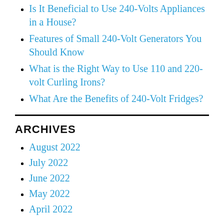Is It Beneficial to Use 240-Volts Appliances in a House?
Features of Small 240-Volt Generators You Should Know
What is the Right Way to Use 110 and 220-volt Curling Irons?
What Are the Benefits of 240-Volt Fridges?
ARCHIVES
August 2022
July 2022
June 2022
May 2022
April 2022